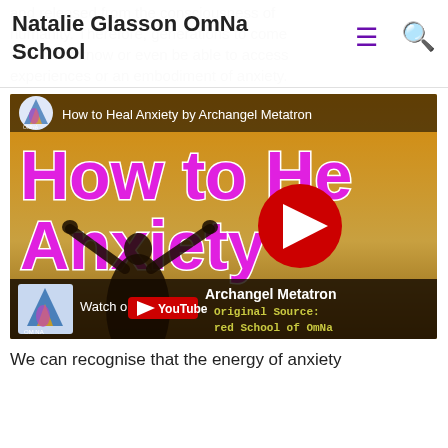Natalie Glasson OmNa School
and released from the consciousness of humanity. Therefore, generations to come would not know or even be able to access experiences or an embodiment of anxiety.
[Figure (screenshot): YouTube video thumbnail for 'How to Heal Anxiety by Archangel Metatron' showing a person with arms raised against a sunset sky, with large pink/magenta text 'How to Heal Anxiety', a red YouTube play button, and bottom bar showing 'Archangel Metatron', 'Original Source:', 'red School of OmNa', 'Watch on YouTube' with OmNa logo.]
We can recognise that the energy of anxiety